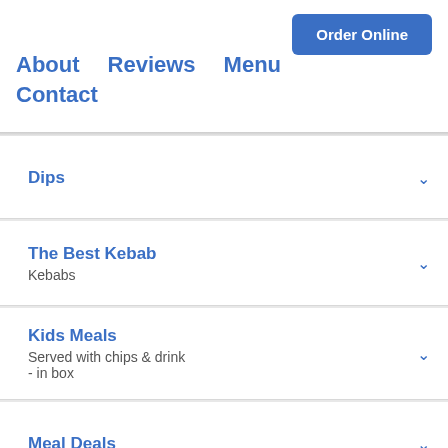Order Online
About   Reviews   Menu   Contact
Dips
The Best Kebab – Kebabs
Kids Meals – Served with chips & drink - in box
Meal Deals
Special Meal Deals